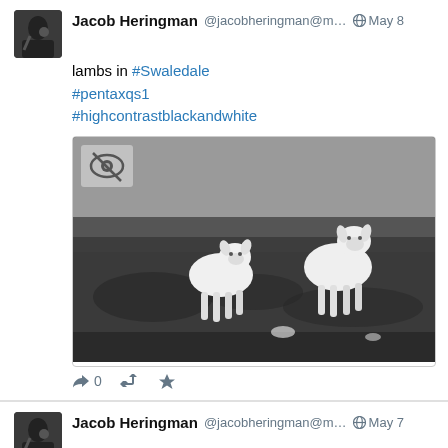Jacob Heringman @jacobheringman@m… 🌐 May 8
lambs in #Swaledale
#pentaxqs1
#highcontrastblackandwhite
[Figure (photo): Black and white photograph of two young lambs standing in a grassy field]
0 [reply] [retweet] [favorite]
Jacob Heringman @jacobheringman@m… 🌐 May 7
flightfree.co.uk/post/flight-f…
A little blog post on why I don't fly for work
[Figure (photo): Partial photo showing two people with glasses]